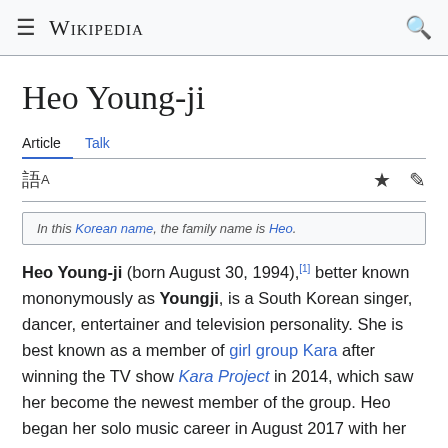Wikipedia
Heo Young-ji
Article  Talk
In this Korean name, the family name is Heo.
Heo Young-ji (born August 30, 1994),[1] better known mononymously as Youngji, is a South Korean singer, dancer, entertainer and television personality. She is best known as a member of girl group Kara after winning the TV show Kara Project in 2014, which saw her become the newest member of the group. Heo began her solo music career in August 2017 with her first single, "Memory Clock".